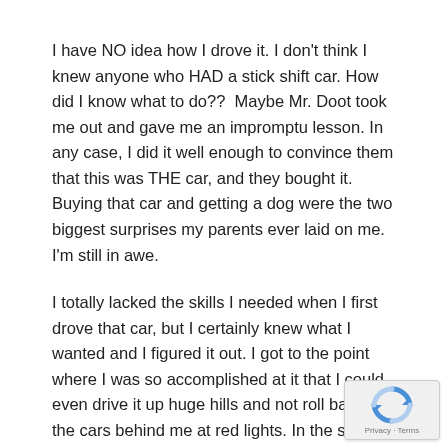I have NO idea how I drove it. I don't think I knew anyone who HAD a stick shift car. How did I know what to do??  Maybe Mr. Doot took me out and gave me an impromptu lesson. In any case, I did it well enough to convince them that this was THE car, and they bought it. Buying that car and getting a dog were the two biggest surprises my parents ever laid on me. I'm still in awe.
I totally lacked the skills I needed when I first drove that car, but I certainly knew what I wanted and I figured it out. I got to the point where I was so accomplished at it that I could even drive it up huge hills and not roll back into the cars behind me at red lights. In the snow. I became such a natural shifter that I could have lived in San
[Figure (logo): Google reCAPTCHA badge with Privacy and Terms text]